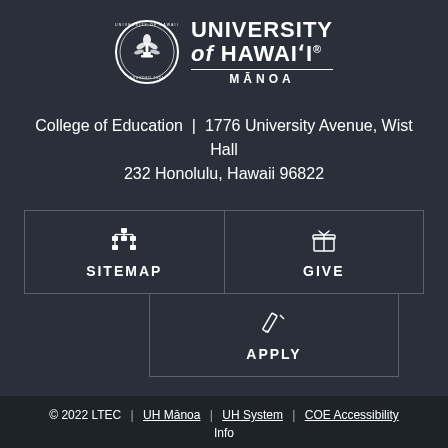[Figure (logo): University of Hawaii at Manoa circular seal logo with university wordmark]
College of Education | 1776 University Avenue, Wist Hall 232 Honolulu, Hawaii 96822
[Figure (infographic): Three navigation buttons: SITEMAP (sitemap icon), GIVE (gift icon), APPLY (pencil icon)]
© 2022 LTEC | UH Māanoa | UH System | COE Accessibility Info